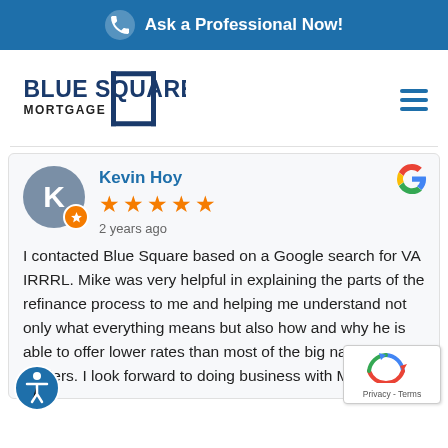Ask a Professional Now!
[Figure (logo): Blue Square Mortgage logo — company name with a blue square bracket graphic]
Kevin Hoy
★★★★★
2 years ago
I contacted Blue Square based on a Google search for VA IRRRL. Mike was very helpful in explaining the parts of the refinance process to me and helping me understand not only what everything means but also how and why he is able to offer lower rates than most of the big name lenders. I look forward to doing business with Mike aga...